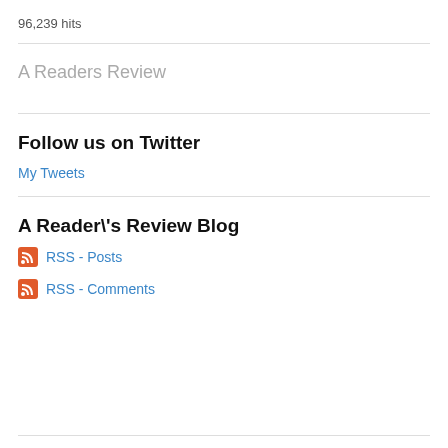96,239 hits
A Readers Review
Follow us on Twitter
My Tweets
A Reader\'s Review Blog
RSS - Posts
RSS - Comments